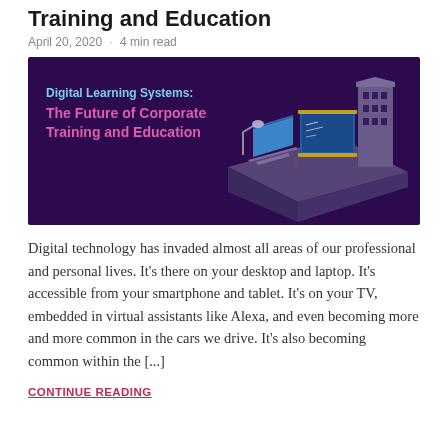Training and Education
April 20, 2020 · 4 min read
[Figure (illustration): Dark purple banner with text 'Digital Learning Systems: The Future of Corporate Training and Education' on the left and an isometric illustration of a desk with laptop, chalkboard, and buildings on the right.]
Digital technology has invaded almost all areas of our professional and personal lives. It's there on your desktop and laptop. It's accessible from your smartphone and tablet. It's on your TV, embedded in virtual assistants like Alexa, and even becoming more and more common in the cars we drive. It's also becoming common within the [...]
CONTINUE READING